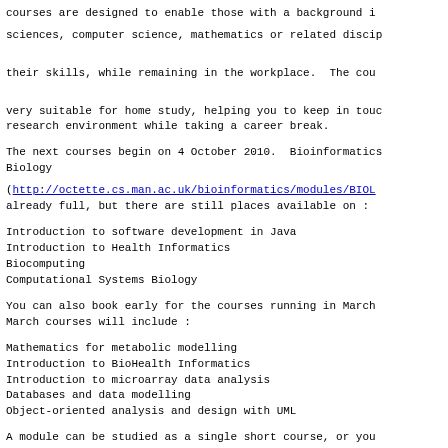courses are designed to enable those with a background in sciences, computer science, mathematics or related disciplines to update their skills, while remaining in the workplace. The courses are very suitable for home study, helping you to keep in touch with the research environment while taking a career break.
The next courses begin on 4 October 2010. Bioinformatics Biology (http://octette.cs.man.ac.uk/bioinformatics/modules/BIOL...) already full, but there are still places available on :
Introduction to software development in Java
Introduction to Health Informatics
Biocomputing
Computational Systems Biology
You can also book early for the courses running in March. March courses will include :
Mathematics for metabolic modelling
Introduction to BioHealth Informatics
Introduction to microarray data analysis
Databases and data modelling
Object-oriented analysis and design with UML
A module can be studied as a single short course, or you can register for a formal qualification. Those wishing to pursue an MSc will complete a supported research project. Examples of projects that have been published in a range of journals are listed at http://octette.cs.man.ac.uk/bioinformatics/research/inde...